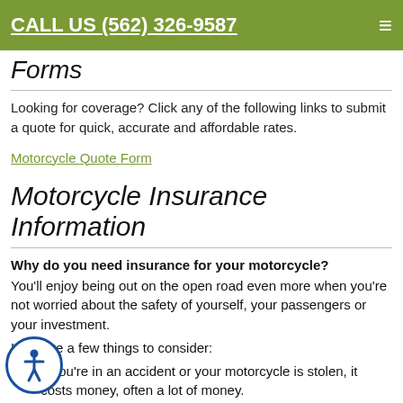CALL US (562) 326-9587
Forms
Looking for coverage? Click any of the following links to submit a quote for quick, accurate and affordable rates.
Motorcycle Quote Form
Motorcycle Insurance Information
Why do you need insurance for your motorcycle?
You'll enjoy being out on the open road even more when you're not worried about the safety of yourself, your passengers or your investment.
Here are a few things to consider:
If you're in an accident or your motorcycle is stolen, it costs money, often a lot of money.